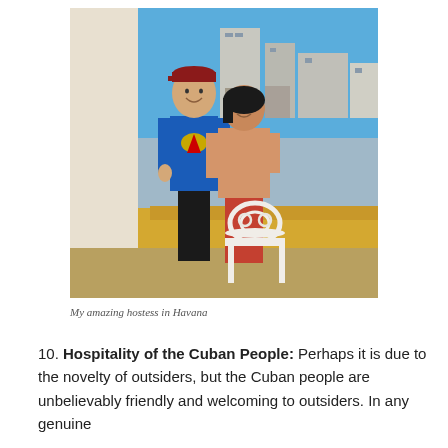[Figure (photo): Two people standing on a balcony in Havana, Cuba. A tall man in a blue Superman t-shirt and dark pants wearing a red cap, standing next to a woman in a beige top and red skirt. City rooftops and blue sky visible in the background. A white decorative chair is partially visible in the foreground.]
My amazing hostess in Havana
10. Hospitality of the Cuban People: Perhaps it is due to the novelty of outsiders, but the Cuban people are unbelievably friendly and welcoming to outsiders. In any genuine